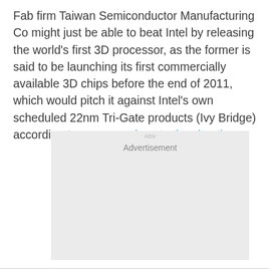Fab firm Taiwan Semiconductor Manufacturing Co might just be able to beat Intel by releasing the world's first 3D processor, as the former is said to be launching its first commercially available 3D chips before the end of 2011, which would pitch it against Intel's own scheduled 22nm Tri-Gate products (Ivy Bridge) according to a person close to the situation.
[Figure (other): Advertisement placeholder box with light grey background and 'Advertisement' label text centered near the top.]